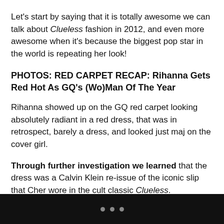Let's start by saying that it is totally awesome we can talk about Clueless fashion in 2012, and even more awesome when it's because the biggest pop star in the world is repeating her look!
PHOTOS: RED CARPET RECAP: Rihanna Gets Red Hot As GQ's (Wo)Man Of The Year
Rihanna showed up on the GQ red carpet looking absolutely radiant in a red dress, that was in retrospect, barely a dress, and looked just maj on the cover girl.
Through further investigation we learned that the dress was a Calvin Klein re-issue of the iconic slip that Cher wore in the cult classic Clueless.
• • •